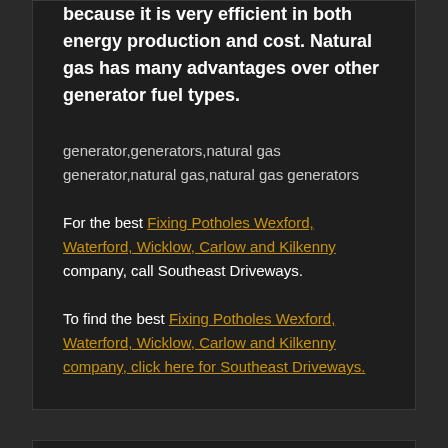because it is very efficient in both energy production and cost. Natural gas has many advantages over other generator fuel types.
generator,generators,natural gas generator,natural gas,natural gas generators
For the best Fixing Potholes Wexford, Waterford, Wicklow, Carlow and Kilkenny company, call Southeast Driveways.
To find the best Fixing Potholes Wexford, Waterford, Wicklow, Carlow and Kilkenny company, click here for Southeast Driveways.
Ashcroft's Home Improvements
ACPM MIELE VACUUM